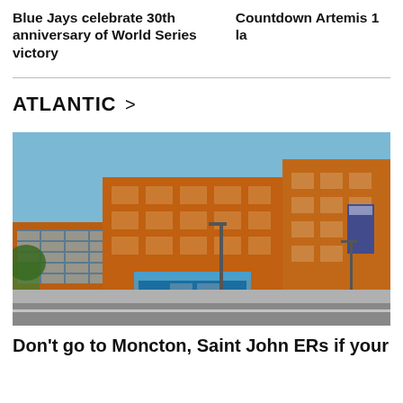Blue Jays celebrate 30th anniversary of World Series victory
Countdown Artemis 1 la
ATLANTIC >
[Figure (photo): Exterior photo of a multi-story red brick hospital or institutional building with a blue-canopied entrance, street lights, and a clear sky in the background.]
Don't go to Moncton, Saint John ERs if your